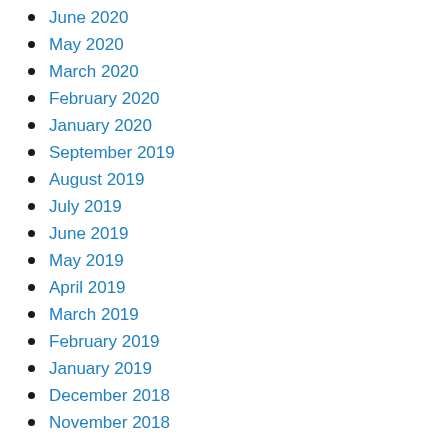June 2020
May 2020
March 2020
February 2020
January 2020
September 2019
August 2019
July 2019
June 2019
May 2019
April 2019
March 2019
February 2019
January 2019
December 2018
November 2018